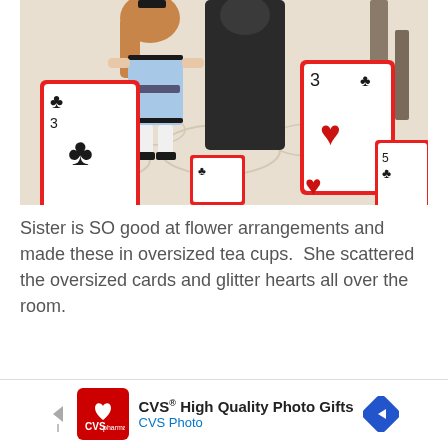[Figure (photo): A child dressed as Alice in Wonderland in a blue dress with black trim, standing among oversized red playing cards (clubs and hearts visible) scattered on a floral-patterned floor, with other people visible in the background.]
Sister is SO good at flower arrangements and made these in oversized tea cups.  She scattered the oversized cards and glitter hearts all over the room.
[Figure (other): CVS Pharmacy advertisement banner. CVS High Quality Photo Gifts. CVS Photo.]